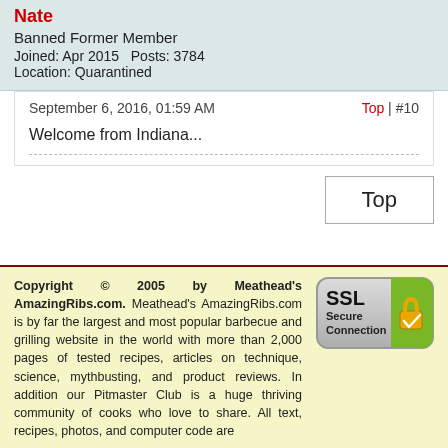Nate
Banned Former Member
Joined: Apr 2015   Posts: 3784   Location: Quarantined
September 6, 2016, 01:59 AM
Top | #10
Welcome from Indiana...
Top
Copyright © 2005 by Meathead's AmazingRibs.com. Meathead's AmazingRibs.com is by far the largest and most popular barbecue and grilling website in the world with more than 2,000 pages of tested recipes, articles on technique, science, mythbusting, and product reviews. In addition our Pitmaster Club is a huge thriving community of cooks who love to share. All text, recipes, photos, and computer code are
[Figure (logo): SSL Secure Connection badge with padlock icon and green background]